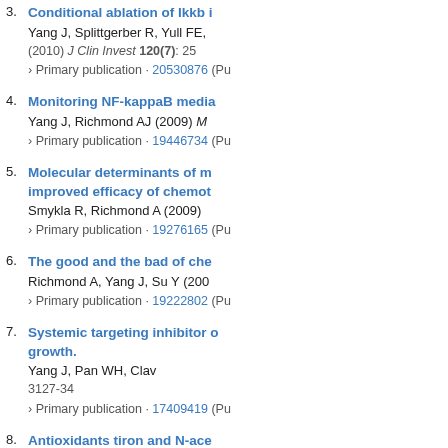3. Conditional ablation of Ikkb i... Yang J, Splittgerber R, Yull FE, (2010) J Clin Invest 120(7): 25... › Primary publication · 20530876 (Pu...
4. Monitoring NF-kappaB media... Yang J, Richmond AJ (2009) M... › Primary publication · 19446734 (Pu...
5. Molecular determinants of m... improved efficacy of chemot... Smykla R, Richmond A (2009) › Primary publication · 19276165 (Pu...
6. The good and the bad of che... Richmond A, Yang J, Su Y (200... › Primary publication · 19222802 (Pu...
7. Systemic targeting inhibitor o... growth. Yang J, Pan WH, Clav... 3127-34 › Primary publication · 17409419 (Pu...
8. Antioxidants tiron and N-ace... in melanoma cells via a reac... pathway. Yang J, Su Y, Richm... › Primary publication · 17395010 (Pu...
9. BMS-345541 targets inhibit...